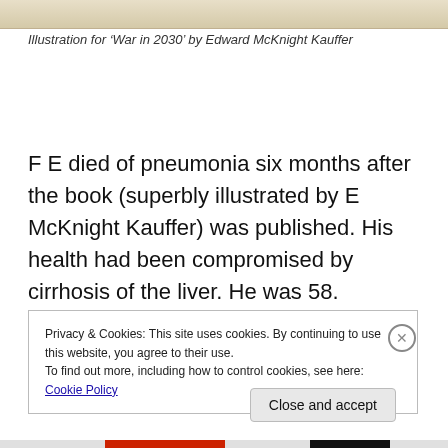[Figure (illustration): Top portion of an illustration for 'War in 2030' by Edward McKnight Kauffer, showing the upper edge of a beige/tan image]
Illustration for ‘War in 2030’ by Edward McKnight Kauffer
F E died of pneumonia six months after the book (superbly illustrated by E McKnight Kauffer) was published. His health had been compromised by cirrhosis of the liver. He was 58.
Privacy & Cookies: This site uses cookies. By continuing to use this website, you agree to their use.
To find out more, including how to control cookies, see here: Cookie Policy